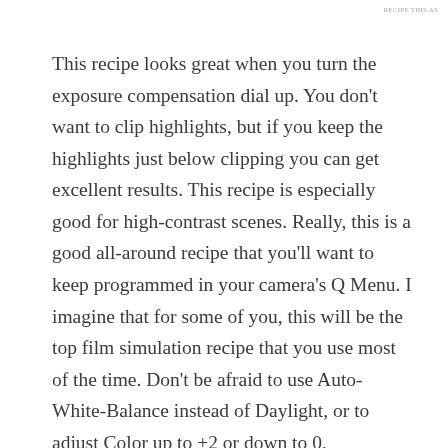RECIPE THIS AS
This recipe looks great when you turn the exposure compensation dial up. You don't want to clip highlights, but if you keep the highlights just below clipping you can get excellent results. This recipe is especially good for high-contrast scenes. Really, this is a good all-around recipe that you'll want to keep programmed in your camera's Q Menu. I imagine that for some of you, this will be the top film simulation recipe that you use most of the time. Don't be afraid to use Auto-White-Balance instead of Daylight, or to adjust Color up to +2 or down to 0, depending on your tastes.